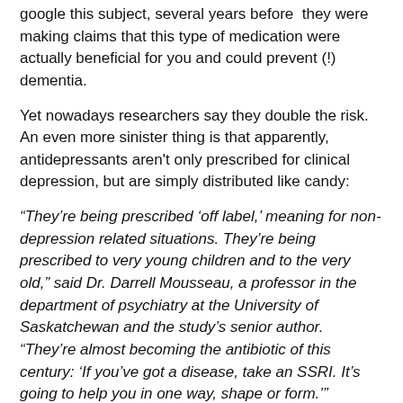google this subject, several years before they were making claims that this type of medication were actually beneficial for you and could prevent (!) dementia.
Yet nowadays researchers say they double the risk. An even more sinister thing is that apparently, antidepressants aren't only prescribed for clinical depression, but are simply distributed like candy:
“They’re being prescribed ‘off label,’ meaning for non-depression related situations. They’re being prescribed to very young children and to the very old,” said Dr. Darrell Mousseau, a professor in the department of psychiatry at the University of Saskatchewan and the study’s senior author. “They’re almost becoming the antibiotic of this century: ‘If you’ve got a disease, take an SSRI. It’s going to help you in one way, shape or form.’”
New medication is more dangerous than the old version:
The link was strongest with the SSRIs, and lowest with older